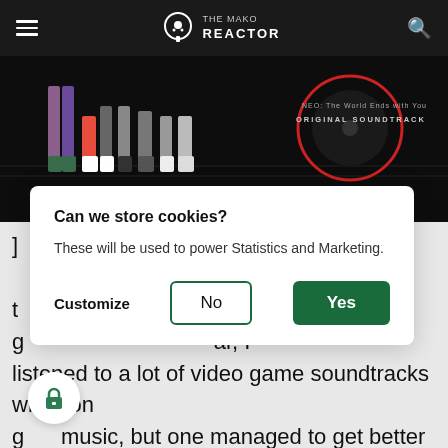THE MAKO REACTOR
[Figure (screenshot): Hero banner image showing stylized character legs/boots at top with text 'ORIGINAL SOUNDTRACK' and teal text reading '♪ INCONGRUOUS' overlaid on dark background]
Can we store cookies?
These will be used to power Statistics and Marketing.
Customize  No  Yes
a lot harder ality of ar, I listened to a lot of video game soundtracks with non g music, but one managed to get better with every listen. That is No More Heroes III. No More